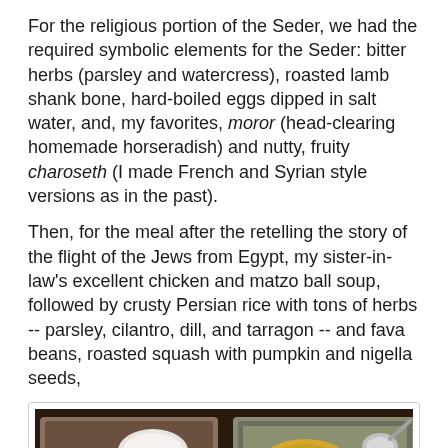For the religious portion of the Seder, we had the required symbolic elements for the Seder: bitter herbs (parsley and watercress), roasted lamb shank bone, hard-boiled eggs dipped in salt water, and, my favorites, moror (head-clearing homemade horseradish) and nutty, fruity charoseth (I made French and Syrian style versions as in the past).
Then, for the meal after the retelling the story of the flight of the Jews from Egypt, my sister-in-law's excellent chicken and matzo ball soup, followed by crusty Persian rice with tons of herbs -- parsley, cilantro, dill, and tarragon -- and fava beans, roasted squash with pumpkin and nigella seeds,
[Figure (photo): Two serving trays of food on a dark counter: left tray has roasted squash with pumpkin seeds and herbs with a white dish, right tray has Persian rice with green herbs and a ladle.]
Roasted squash with pumpkin and nigella seeds; Persian rice with herbs
Syrian chicken with olives and lemons, and lamb tagine with